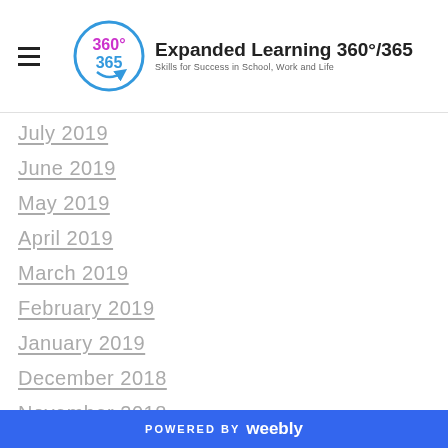Expanded Learning 360°/365 — Skills for Success in School, Work and Life
July 2019
June 2019
May 2019
April 2019
March 2019
February 2019
January 2019
December 2018
November 2018
October 2018
September 2018
August 2018
July 2018
June 2018
May 2018
POWERED BY weebly